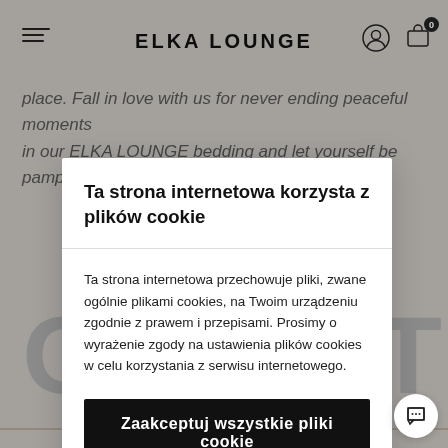ELKA LOUNGE
place. Fall in love with us for never ending peaceful moments in our ELKA LOUNGE bedding and let yourself be pampered
Ta strona internetowa korzysta z plików cookie
Ta strona internetowa przechowuje pliki, zwane ogólnie plikami cookies, na Twoim urządzeniu zgodnie z prawem i przepisami. Prosimy o wyrażenie zgody na ustawienia plików cookies w celu korzystania z serwisu internetowego.
Zaakceptuj wszystkie pliki cookie
Ustawienia plików cookie